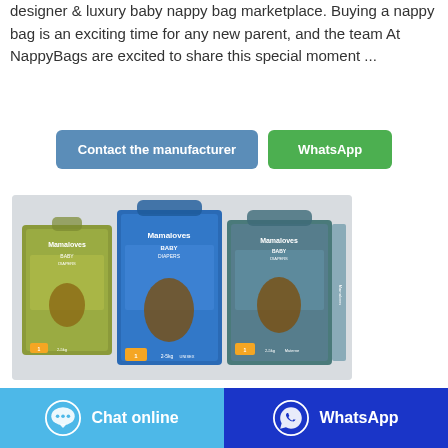designer & luxury baby nappy bag marketplace. Buying a nappy bag is an exciting time for any new parent, and the team At NappyBags are excited to share this special moment ...
[Figure (other): Two buttons: 'Contact the manufacturer' (blue) and 'WhatsApp' (green)]
[Figure (photo): Three Mamaloves Baby Diapers product boxes in olive/gold, blue, and teal/gray colors displayed together on a white/gray background]
[Figure (other): Footer bar with two buttons: 'Chat online' (light blue with chat bubble icon) and 'WhatsApp' (dark blue with WhatsApp icon)]